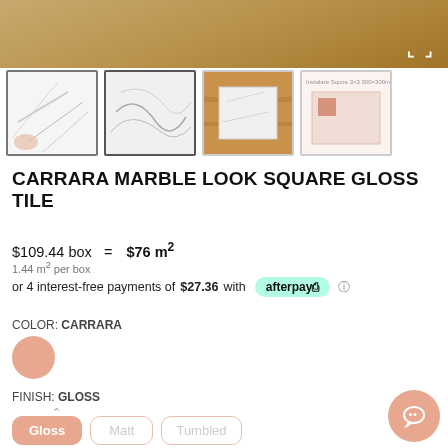[Figure (photo): Top banner showing wooden surface, product hero image area with expand icons]
[Figure (photo): Row of 4 product thumbnails: two marble tile close-ups, one tile on wood floor, one product diagram/swatch]
CARRARA MARBLE LOOK SQUARE GLOSS TILE
$109.44 box = $76 m²
1.44 m² per box
or 4 interest-free payments of $27.36 with afterpay
COLOR: CARRARA
FINISH: GLOSS
Gloss  Matt  Tumbled